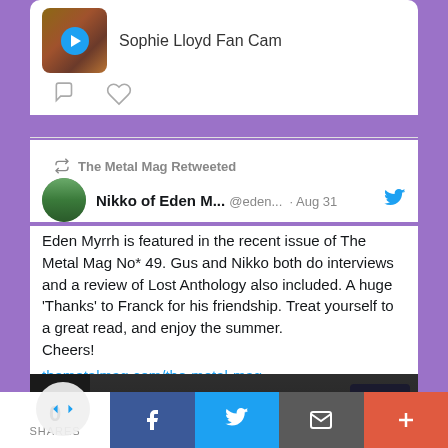[Figure (screenshot): Partial tweet card showing a media thumbnail with play button and text 'Sophie Lloyd Fan Cam']
Sophie Lloyd Fan Cam
The Metal Mag Retweeted
Nikko of Eden M...  @eden...  · Aug 31
Eden Myrrh is featured in the recent issue of The Metal Mag No* 49. Gus and Nikko both do interviews and a review of Lost Anthology also included. A huge 'Thanks' to Franck for his friendship. Treat yourself to a great read, and enjoy the summer.
Cheers!
themetalmag.com/the-metal-mag-...
[Figure (photo): Photo of person with long white/grey hair wearing a black t-shirt, with magazine/TMM branding visible]
0
SHARES